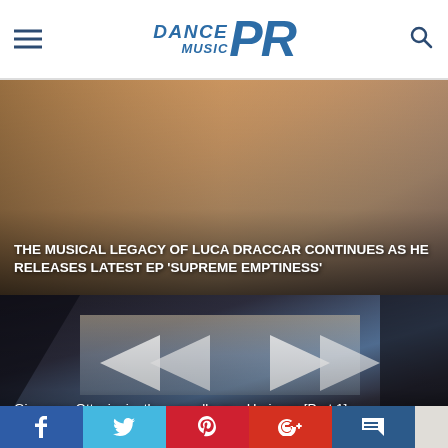Dance Music PR — navigation header with hamburger menu and search icon
[Figure (photo): Music artist photo with warm tones — headline article about Luca Draccar EP 'Supreme Emptiness']
THE MUSICAL LEGACY OF LUCA DRACCAR CONTINUES AS HE RELEASES LATEST EP 'SUPREME EMPTINESS'
[Figure (screenshot): Dark abstract video thumbnail with geometric arrow shapes for Giuseppe Ottaviani album Horizons Part 1]
Giuseppe Ottaviani – the new album – Horizons [Part 1]
[Figure (photo): Soft-focus portrait photo for Luca Draccar EP Sugar release]
Luca Draccar releases new EP 'Sugar'
Social share bar: Facebook, Twitter, Pinterest, Google+, Comment